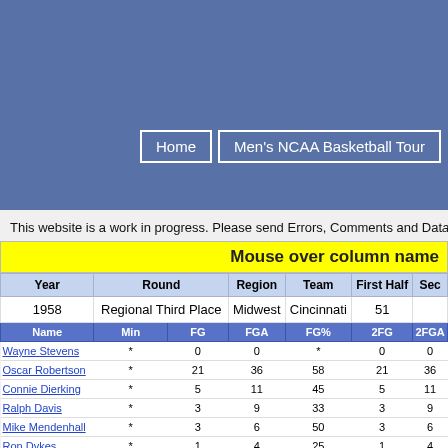Men's NCAA Basketball Tournament
This website is a work in progress. Please send Errors, Comments and Data
| Year | Round | Region | Team | First Half | Sec |
| --- | --- | --- | --- | --- | --- |
| 1958 | Regional Third Place | Midwest | Cincinnati | 51 |  |
| Name | Min | FG | FGA | FG% | 2FG | 2FGA | 2FG% | 3FG | 3FGA | 3FG% | eFG% |
| Wayne Stevens | * | 0 | 0 | * | 0 | 0 | 0 | * | * | * | * |
| Oscar Robertson | * | 21 | 36 | 58 | 21 | 36 | 58 | * | * | * | 5 |
| Connie Dierking | * | 5 | 11 | 45 | 5 | 11 | 45 | * | * | * | 4 |
| Ralph Davis | * | 3 | 9 | 33 | 3 | 9 | 33 | * | * | * | 3 |
| Mike Mendenhall | * | 3 | 6 | 50 | 3 | 6 | 50 | * | * | * | 5 |
| Ron Dykes | * | 1 | 4 | 25 | 1 | 4 | 25 | * | * | * | 2 |
| Larry Willey | * | 1 | 2 | 50 | 1 | 2 | 50 | * | * | * | 5 |
| Rod Nall | * | 1 | 3 | 33 | 1 | 3 | 33 | * | * | * | 3 |
| Bill Whitaker | * | 0 | 1 | 0 | 0 | 1 | 0 | * | * | * |  |